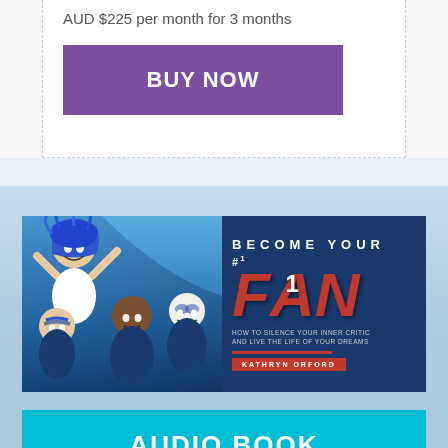AUD $225 per month for 3 months
BUY NOW
[Figure (illustration): Book banner for 'Become Your #1 Fan' by Kathryn Orford, showing fans with blue face paint on the left and large red FAN text on dark blue background on the right]
AUDIO BOOK